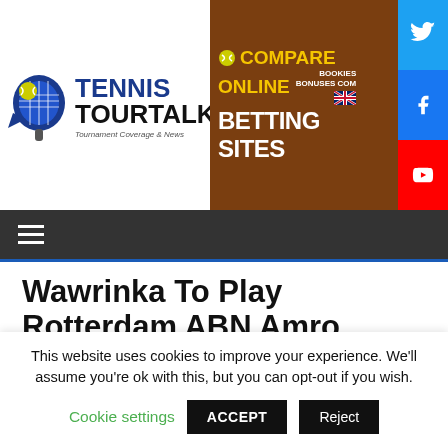[Figure (logo): Tennis TourTalk logo with racket/ball icon and tagline 'Tournament Coverage & News']
[Figure (infographic): Brown advertisement banner for Compare Online Betting Sites with UK flag and text 'BOOKIES BONUSES COM']
[Figure (infographic): Twitter, Facebook, YouTube social media icons in blue, dark blue, and red]
[Figure (infographic): Dark navigation bar with hamburger menu icon]
Wawrinka To Play Rotterdam ABN Amro World Tennis Tournament
January 11, 2021
This website uses cookies to improve your experience. We'll assume you're ok with this, but you can opt-out if you wish.